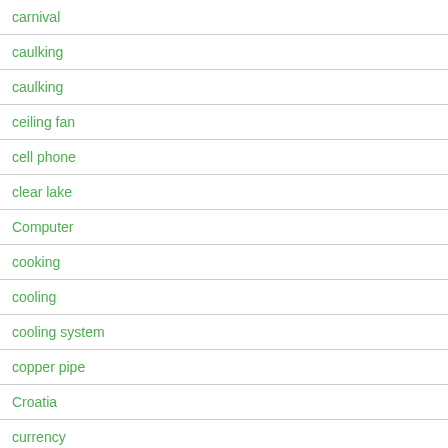carnival
caulking
caulking
ceiling fan
cell phone
clear lake
Computer
cooking
cooling
cooling system
copper pipe
Croatia
currency